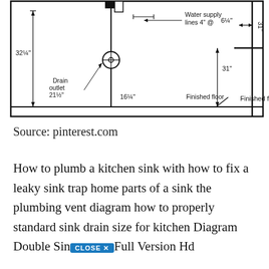[Figure (schematic): Plumbing schematic diagram showing kitchen sink rough-in dimensions: 32¼" width, 31" height to finished floor, 21½" drain outlet, 16¼" drain center, 6¼" water supply offset, water supply lines 4" @, finished floor label, with dimension arrows and symbolic plumbing connections.]
Source: pinterest.com
How to plumb a kitchen sink with how to fix a leaky sink trap home parts of a sink the plumbing vent diagram how to properly standard sink drain size for kitchen Diagram Double Sink Full Version Hd